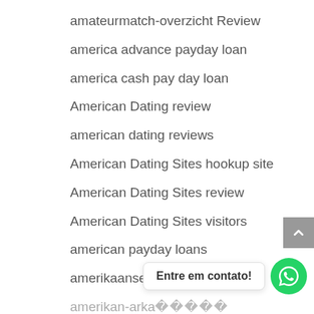amateurmatch-overzicht Review
america advance payday loan
america cash pay day loan
American Dating review
american dating reviews
American Dating Sites hookup site
American Dating Sites review
American Dating Sites visitors
american payday loans
amerikaanse-datingsites Dating
amerikan-arkadaslik-siteleri Sitesi
amino crediti gratuiti